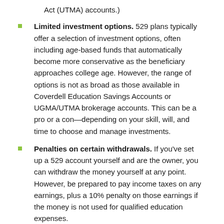Act (UTMA) accounts.)
Limited investment options. 529 plans typically offer a selection of investment options, often including age-based funds that automatically become more conservative as the beneficiary approaches college age. However, the range of options is not as broad as those available in Coverdell Education Savings Accounts or UGMA/UTMA brokerage accounts. This can be a pro or a con—depending on your skill, will, and time to choose and manage investments.
Penalties on certain withdrawals. If you've set up a 529 account yourself and are the owner, you can withdraw the money yourself at any point. However, be prepared to pay income taxes on any earnings, plus a 10% penalty on those earnings if the money is not used for qualified education expenses.
Medicaid implications. A major drawback to